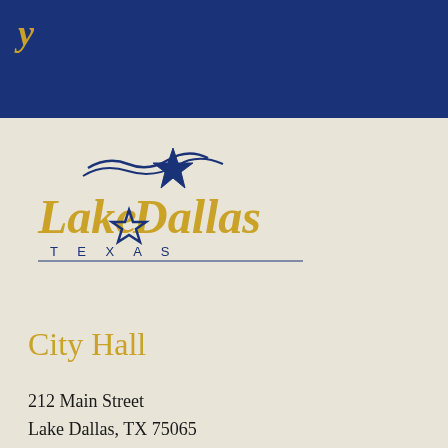y
[Figure (logo): Lake Dallas Texas city logo with a star and decorative wave lines, text reads 'Lake Dallas' in gold and blue with 'TEXAS' below in smaller letters]
City Hall
212 Main Street
Lake Dallas, TX 75065
Phone: (940) 497-2226
Monday - Friday
8:30 a.m. - 5:00 p.m.